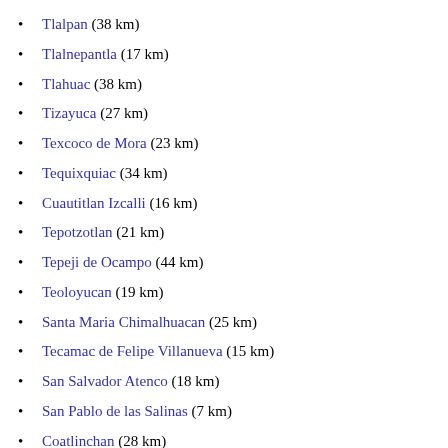Tlalpan (38 km)
Tlalnepantla (17 km)
Tlahuac (38 km)
Tizayuca (27 km)
Texcoco de Mora (23 km)
Tequixquiac (34 km)
Cuautitlan Izcalli (16 km)
Tepotzotlan (21 km)
Tepeji de Ocampo (44 km)
Teoloyucan (19 km)
Santa Maria Chimalhuacan (25 km)
Tecamac de Felipe Villanueva (15 km)
San Salvador Atenco (18 km)
San Pablo de las Salinas (7 km)
Coatlinchan (28 km)
Teotihuacan de Arista (23 km)
San Francisco Acuautla (38 km)
Polanco (27 km)